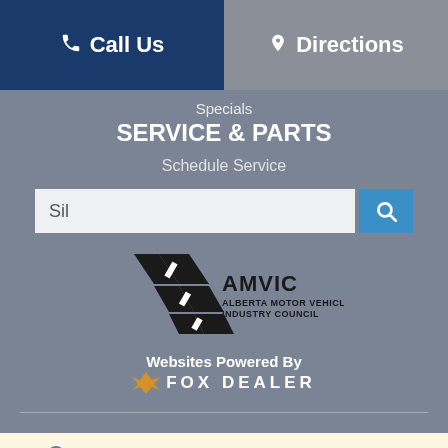Call Us   Directions
Specials
SERVICE & PARTS
Schedule Service
[Figure (screenshot): Search input field with placeholder text 'Sil' and a blue search button with magnifying glass icon]
[Figure (logo): AMVIC Alberta Motor Vehicle Industry Council logo]
Websites Powered By FOX DEALER
Your web browser (iOS 11) is out of date. Update your browser for more security, speed and the best experience on this site.
Update browser   Ignore